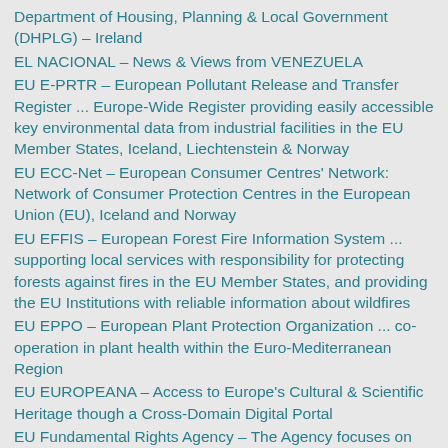Department of Housing, Planning & Local Government (DHPLG) – Ireland
EL NACIONAL – News & Views from VENEZUELA
EU E-PRTR – European Pollutant Release and Transfer Register ... Europe-Wide Register providing easily accessible key environmental data from industrial facilities in the EU Member States, Iceland, Liechtenstein & Norway
EU ECC-Net – European Consumer Centres' Network: Network of Consumer Protection Centres in the European Union (EU), Iceland and Norway
EU EFFIS – European Forest Fire Information System ... supporting local services with responsibility for protecting forests against fires in the EU Member States, and providing the EU Institutions with reliable information about wildfires
EU EPPO – European Plant Protection Organization ... co-operation in plant health within the Euro-Mediterranean Region
EU EUROPEANA – Access to Europe's Cultural & Scientific Heritage though a Cross-Domain Digital Portal
EU Fundamental Rights Agency – The Agency focuses on the situation of fundamental rights in the European Union (EU) and all of its Member States
EU WISE – Water Information System for Europe ... where